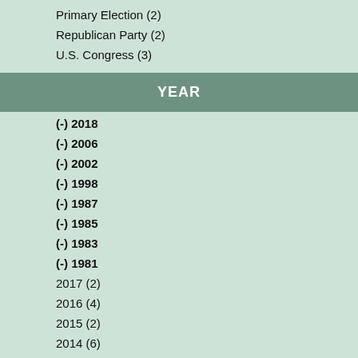Primary Election (2)
Republican Party (2)
U.S. Congress (3)
YEAR
(-) 2018
(-) 2006
(-) 2002
(-) 1998
(-) 1987
(-) 1985
(-) 1983
(-) 1981
2017 (2)
2016 (4)
2015 (2)
2014 (6)
2013 (2)
2012 (5)